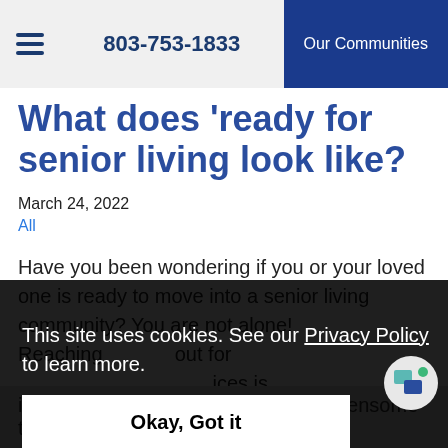803-753-1833  Our Communities
What does 'ready for senior living look like?
March 24, 2022
All
Have you been wondering if you or your loved one is ready to move into a senior living community? You are not alone! Reaching out for services is for yourself
This site uses cookies. See our Privacy Policy to learn more.
Okay, Got it
is your home feeling too big and burdensome to